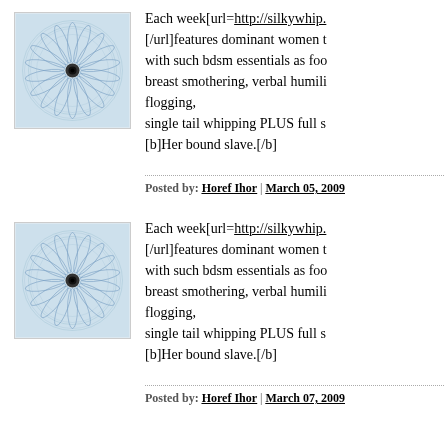[Figure (illustration): Circular spirograph-like avatar image with blue/gray tones and a dark center dot, in a light blue bordered square]
Each week[url=http://silkywhip.[/url]features dominant women t with such bdsm essentials as foo breast smothering, verbal humili flogging,
single tail whipping PLUS full s [b]Her bound slave.[/b]
Posted by: Horef Ihor | March 05, 2009
[Figure (illustration): Circular spirograph-like avatar image with blue/gray tones and a dark center dot, in a light blue bordered square]
Each week[url=http://silkywhip.[/url]features dominant women t with such bdsm essentials as foo breast smothering, verbal humili flogging,
single tail whipping PLUS full s [b]Her bound slave.[/b]
Posted by: Horef Ihor | March 07, 2009